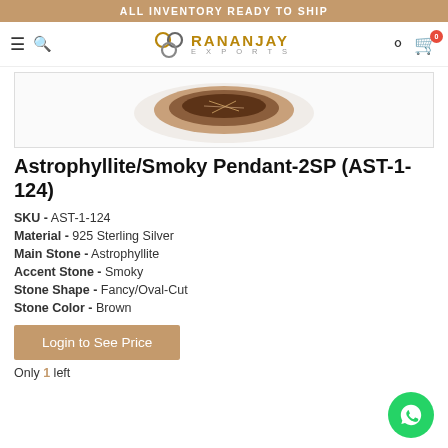ALL INVENTORY READY TO SHIP
[Figure (logo): Rananjay Exports logo with stylized circular monogram and brand name]
[Figure (photo): Partial view of an Astrophyllite/Smoky pendant gemstone on white background]
Astrophyllite/Smoky Pendant-2SP (AST-1-124)
SKU - AST-1-124
Material - 925 Sterling Silver
Main Stone - Astrophyllite
Accent Stone - Smoky
Stone Shape - Fancy/Oval-Cut
Stone Color - Brown
Login to See Price
Only 1 left